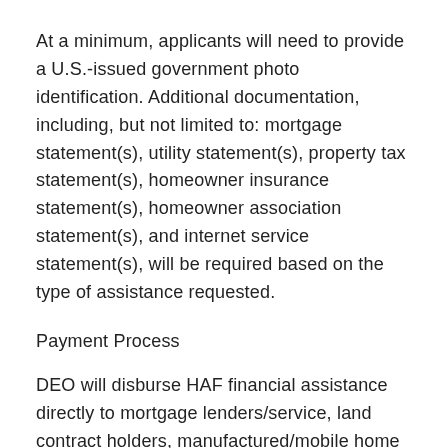At a minimum, applicants will need to provide a U.S.-issued government photo identification. Additional documentation, including, but not limited to: mortgage statement(s), utility statement(s), property tax statement(s), homeowner insurance statement(s), homeowner association statement(s), and internet service statement(s), will be required based on the type of assistance requested.
Payment Process
DEO will disburse HAF financial assistance directly to mortgage lenders/service, land contract holders, manufactured/mobile home lenders, local taxing authorities, property and flood insurance carriers, utility service providers, and internet/broadband service providers. Once a homeowner completes a program application, provides the required